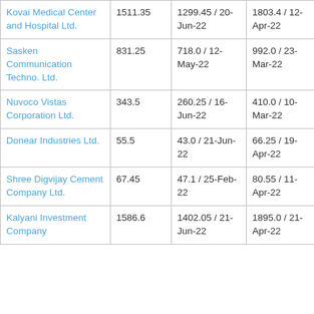| Kovai Medical Center and Hospital Ltd. | 1511.35 | 1299.45 / 20-Jun-22 | 1803.4 / 12-Apr-22 | 1662 |
| Sasken Communication Techno. Ltd. | 831.25 | 718.0 / 12-May-22 | 992.0 / 23-Mar-22 | 15825 |
| Nuvoco Vistas Corporation Ltd. | 343.5 | 260.25 / 16-Jun-22 | 410.0 / 10-Mar-22 | 481 K |
| Donear Industries Ltd. | 55.5 | 43.0 / 21-Jun-22 | 66.25 / 19-Apr-22 | 30425 |
| Shree Digvijay Cement Company Ltd. | 67.45 | 47.1 / 25-Feb-22 | 80.55 / 11-Apr-22 | 212 K |
| Kalyani Investment Company | 1586.6 | 1402.05 / 21-Jun-22 | 1895.0 / 21-Apr-22 | 1291 |